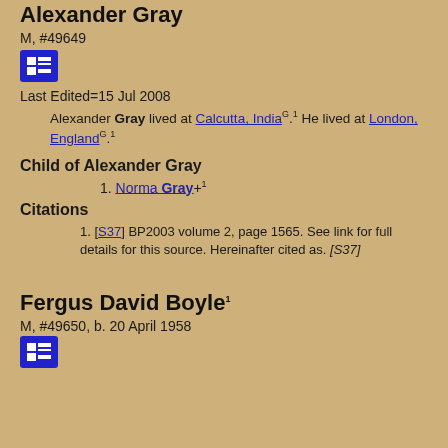Alexander Gray
M, #49649
[Figure (other): Blue icon button with grid/table symbol]
Last Edited=15 Jul 2008
Alexander Gray lived at Calcutta, India[G].1 He lived at London, England[G].1
Child of Alexander Gray
1. Norma Gray+1
Citations
1. [S37] BP2003 volume 2, page 1565. See link for full details for this source. Hereinafter cited as. [S37]
Fergus David Boyle1
M, #49650, b. 20 April 1958
[Figure (other): Blue icon button with grid/table symbol]